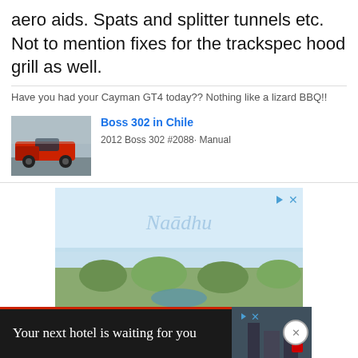aero aids. Spats and splitter tunnels etc. Not to mention fixes for the trackspec hood grill as well.
Have you had your Cayman GT4 today?? Nothing like a lizard BBQ!!
[Figure (photo): Red Ford Mustang Boss 302 on a track, with link card showing 'Boss 302 in Chile', '2012 Boss 302 #2088· Manual']
[Figure (photo): Naladhu resort advertisement showing tropical scenery with watermark text 'Naladhu']
[Figure (photo): Footer banner advertisement: 'Your next hotel is waiting for you' with dark background hotel image]